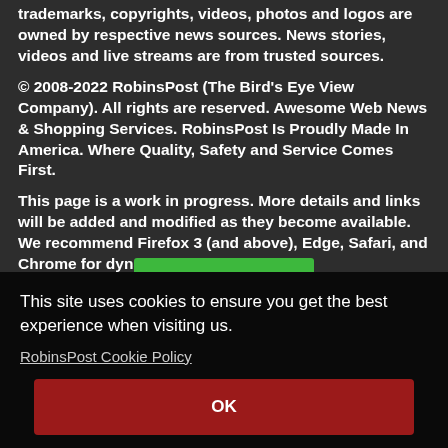trademarks, copyrights, videos, photos and logos are owned by respective news sources. News stories, videos and live streams are from trusted sources.
© 2008-2022 RobinsPost (The Bird's Eye View Company). All rights are reserved. Awesome Web News & Shopping Services. RobinsPost Is Proudly Made In America. Where Quality, Safety and Service Comes First.
This page is a work in progress. More details and links will be added and modified as they become available. We recommend Firefox 3 (and above), Edge, Safari, and Chrome for dynamic performance.
This site uses cookies to ensure you get the best experience when visiting us.
RobinsPost Cookie Policy
OK